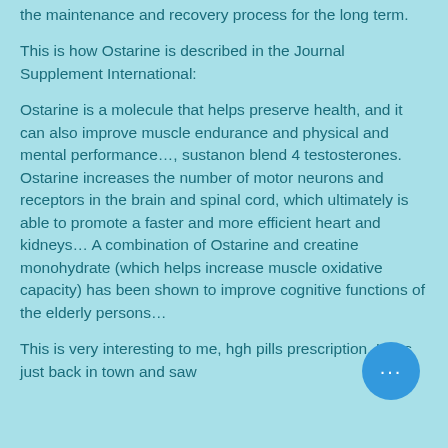the maintenance and recovery process for the long term.
This is how Ostarine is described in the Journal Supplement International:
Ostarine is a molecule that helps preserve health, and it can also improve muscle endurance and physical and mental performance…, sustanon blend 4 testosterones. Ostarine increases the number of motor neurons and receptors in the brain and spinal cord, which ultimately is able to promote a faster and more efficient heart and kidneys… A combination of Ostarine and creatine monohydrate (which helps increase muscle oxidative capacity) has been shown to improve cognitive functions of the elderly persons…
This is very interesting to me, hgh pills prescription. I was just back in town and saw